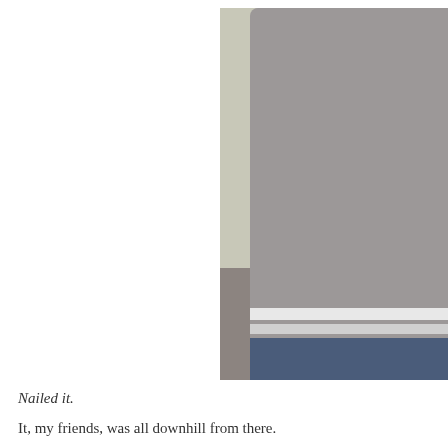[Figure (photo): A child in a red jacket holding their arm high up, gripping the hand of an adult wearing a grey top and blue jeans. The photo has a photobucket watermark overlay. Outdoor setting with blurred background.]
Nailed it.
It, my friends, was all downhill from there.